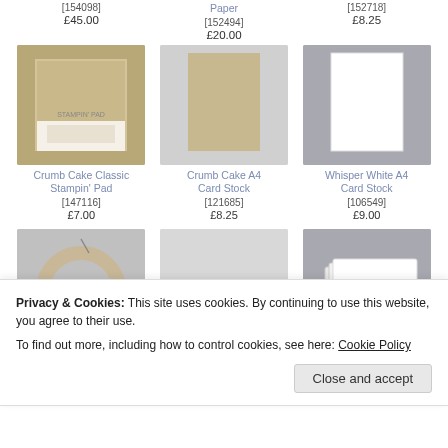[154098]
£45.00
Paper
[152494]
£20.00
[152718]
£8.25
[Figure (photo): Crumb Cake Classic Stampin Pad product image]
Crumb Cake Classic Stampin' Pad
[147116]
£7.00
[Figure (photo): Crumb Cake A4 Card Stock product image]
Crumb Cake A4 Card Stock
[121685]
£8.25
[Figure (photo): Whisper White A4 Card Stock product image]
Whisper White A4 Card Stock
[106549]
£9.00
[Figure (photo): Twine product image]
[Figure (photo): Pen/tool product image]
[Figure (photo): Cards product image]
Privacy & Cookies: This site uses cookies. By continuing to use this website, you agree to their use.
To find out more, including how to control cookies, see here: Cookie Policy
Close and accept